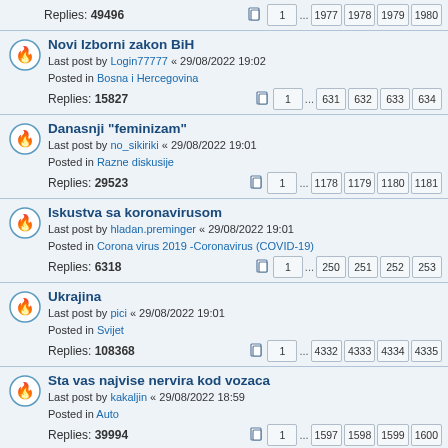Replies: 49496 | pages: 1 ... 1977 1978 1979 1980
Novi Izborni zakon BiH
Last post by Login77777 « 29/08/2022 19:02
Posted in Bosna i Hercegovina
Replies: 15827 | pages: 1 ... 631 632 633 634
Danasnji "feminizam"
Last post by no_sikiriki « 29/08/2022 19:01
Posted in Razne diskusije
Replies: 29523 | pages: 1 ... 1178 1179 1180 1181
Iskustva sa koronavirusom
Last post by hladan.preminger « 29/08/2022 19:01
Posted in Corona virus 2019 -Coronavirus (COVID-19)
Replies: 6318 | pages: 1 ... 250 251 252 253
Ukrajina
Last post by pici « 29/08/2022 19:01
Posted in Svijet
Replies: 108368 | pages: 1 ... 4332 4333 4334 4335
Sta vas najvise nervira kod vozaca
Last post by kakaljin « 29/08/2022 18:59
Posted in Auto
Replies: 39994 | pages: 1 ... 1597 1598 1599 1600
Politika BiH Hrvata prema Bosni i Hercegovini
Last post by Jordan1961 « 29/08/2022 18:54
Posted in Bosna i Hercegovina
Replies: 898 | pages: 1 ... 33 34 35 36